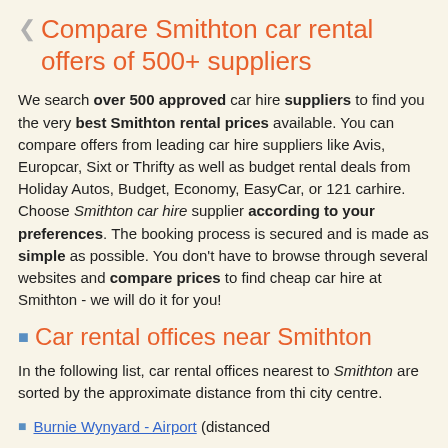Compare Smithton car rental offers of 500+ suppliers
We search over 500 approved car hire suppliers to find you the very best Smithton rental prices available. You can compare offers from leading car hire suppliers like Avis, Europcar, Sixt or Thrifty as well as budget rental deals from Holiday Autos, Budget, Economy, EasyCar, or 121 carhire. Choose Smithton car hire supplier according to your preferences. The booking process is secured and is made as simple as possible. You don't have to browse through several websites and compare prices to find cheap car hire at Smithton - we will do it for you!
Car rental offices near Smithton
In the following list, car rental offices nearest to Smithton are sorted by the approximate distance from thi city centre.
Burnie Wynyard - Airport (distanced